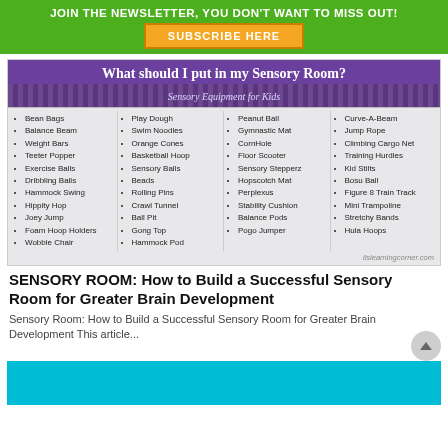JOIN THE NEWSLETTER, YOU DON'T WANT TO MISS OUT!
SUBSCRIBE HERE
[Figure (infographic): Infographic titled 'What should I put in my Sensory Room? Sensory Equipment for Kids' listing 40+ sensory room items in 4 columns: Bean Bags, Balance Beam, Weight Bars, Teeter Popper, Exercise Balls, Dribbling Balls, Hammock Swing, Hippity Hop, Joey Jump, Foam Hoop Holders, Wobble Chair; Play Dough, Swim Noodles, Orange Cones, Basketball Hoop, Sensory Balls, Beads, Rolling Pins, Crawl Tunnel, Ball Pit, Gong Top, Hammock Pod; Peanut Ball, Gymnastic Mat, CornHole, Floor Scooter, Sensory Stepperz, Hopscotch Mat, Perplexus, Stability Cushion, Balance Pods, Pogo Jumper; Curve-A-Beam, Jump Rope, Climbing Cargo Net, Training Hurdles, Kid Stilts, Bosu Ball, Figure 8 Train Track, Mini Trampoline, Stretchy Bands, Hula Hoops. Credit: ilslearningcorner.com]
SENSORY ROOM: How to Build a Successful Sensory Room for Greater Brain Development
Sensory Room: How to Build a Successful Sensory Room for Greater Brain Development This article...
[Figure (photo): Teal/cyan banner image partially visible at bottom of page]